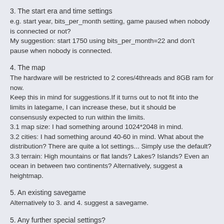3. The start era and time settings
e.g. start year, bits_per_month setting, game paused when nobody is connected or not?
My suggestion: start 1750 using bits_per_month=22 and don't pause when nobody is connected.
4. The map
The hardware will be restricted to 2 cores/4threads and 8GB ram for now.
Keep this in mind for suggestions.If it turns out to not fit into the limits in lategame, I can increase these, but it should be consensusly expected to run within the limits.
3.1 map size: I had something around 1024*2048 in mind.
3.2 cities: I had something around 40-60 in mind. What about the distribution? There are quite a lot settings... Simply use the default?
3.3 terrain: High mountains or flat lands? Lakes? Islands? Even an ocean in between two continents? Alternatively, suggest a heightmap.
5. An existing savegame
Alternatively to 3. and 4. suggest a savegame.
5. Any further special settings?